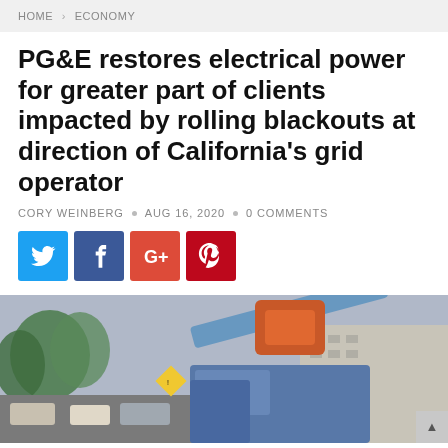HOME > ECONOMY
PG&E restores electrical power for greater part of clients impacted by rolling blackouts at direction of California's grid operator
CORY WEINBERG • AUG 16, 2020 • 0 COMMENTS
[Figure (infographic): Four social sharing buttons: Twitter (blue), Facebook (dark blue), Google+ (red-orange), Pinterest (dark red)]
[Figure (photo): Photograph of a utility truck with a blue crane/boom arm extended, with trees and buildings in the background, suggesting power restoration work]